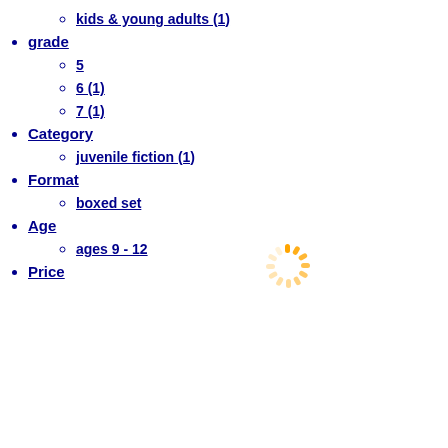kids & young adults (1)
grade
5
6 (1)
7 (1)
Category
juvenile fiction (1)
[Figure (illustration): Orange loading spinner icon]
Format
boxed set
Age
ages 9 - 12
Price